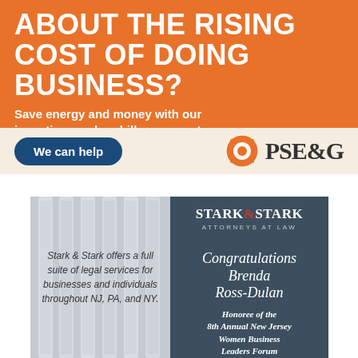[Figure (illustration): PSEG advertisement with orange background showing 'ABOUT THE RISING COST OF DOING BUSINESS?' headline, subtitle 'Save energy and money with our incentives and on-bill repayment.', a 'We can help' button, and the PSEG logo.]
[Figure (illustration): Stark & Stark Attorneys at Law advertisement with two panels: left panel shows classical columns background with text 'Stark & Stark offers a full suite of legal services for businesses and individuals throughout NJ, PA, and NY.'; right panel on dark blue background congratulates Brenda Ross-Dulan as Honoree of the 8th Annual New Jersey Women Business Leaders Forum.]